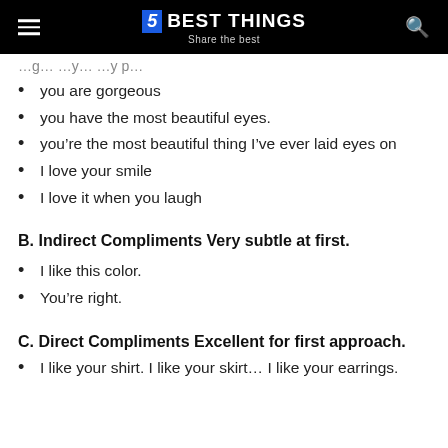5 BEST THINGS — Share the best
you are gorgeous
you have the most beautiful eyes.
you're the most beautiful thing I've ever laid eyes on
I love your smile
I love it when you laugh
B. Indirect Compliments Very subtle at first.
I like this color.
You're right.
C. Direct Compliments Excellent for first approach.
I like your shirt. I like your skirt… I like your earrings.